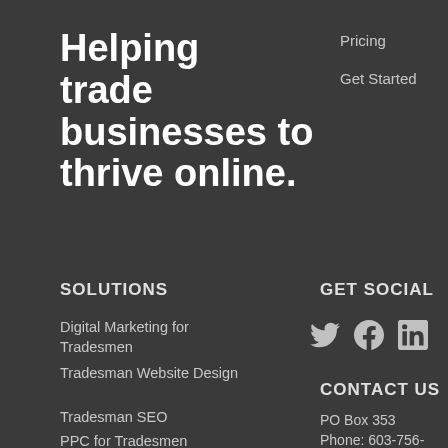Helping trade businesses to thrive online.
Pricing
Get Started
SOLUTIONS
Digital Marketing for Tradesmen
Tradesman Website Design
Tradesman SEO
PPC for Tradesmen
GET SOCIAL
[Figure (illustration): Social media icons: Twitter bird, Facebook f, LinkedIn in]
CONTACT US
PO Box 353
Phone: 603-756-2893